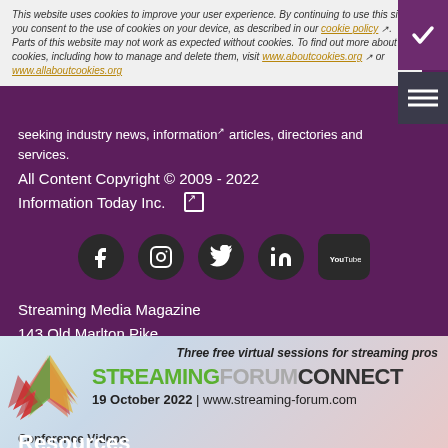This website uses cookies to improve your user experience. By continuing to use this site you consent to the use of cookies on your device, as described in our cookie policy. Parts of this website may not work as expected without cookies. To find out more about cookies, including how to manage and delete them, visit www.aboutcookies.org or www.allaboutcookies.org seeking industry news, information, articles, directories and services.
All Content Copyright © 2009 - 2022
Information Today Inc.
[Figure (infographic): Social media icons: Facebook, Instagram, Twitter, LinkedIn, YouTube — dark circular buttons]
Streaming Media Magazine
143 Old Marlton Pike
Medford, NJ 08055
(609) 654-6266
PRIVACY/COOKIES POLICY
Resources
[Figure (infographic): Streaming Forum Connect advertisement banner: Three free virtual sessions for streaming pros. 19 October 2022 | www.streaming-forum.com]